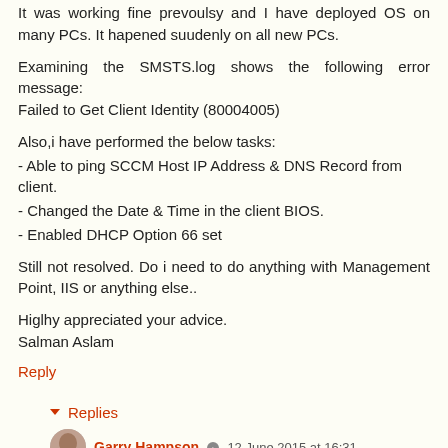It was working fine prevoulsy and I have deployed OS on many PCs. It hapened suudenly on all new PCs.
Examining the SMSTS.log shows the following error message:
Failed to Get Client Identity (80004005)
Also,i have performed the below tasks:
- Able to ping SCCM Host IP Address & DNS Record from client.
- Changed the Date & Time in the client BIOS.
- Enabled DHCP Option 66 set
Still not resolved. Do i need to do anything with Management Point, IIS or anything else..
Higlhy appreciated your advice.
Salman Aslam
Reply
Replies
Garry Hampson · 12 June 2015 at 16:31